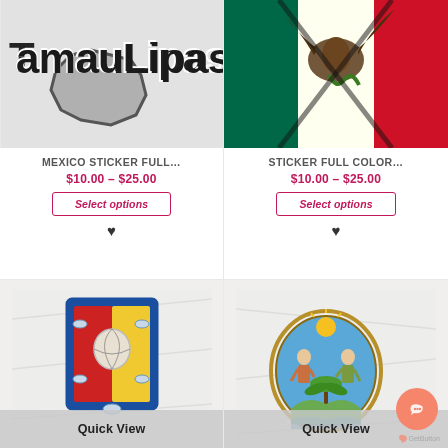[Figure (illustration): Mexico Tamaulipas sticker product image showing stylized text 'Tamaulipas' with a gray map outline on white background]
MEXICO STICKER FULL...
$10.00 – $25.00
Select options
[Figure (illustration): Mexico flag sticker full color product image showing eagle on Mexican flag]
STICKER FULL COLOR...
$10.00 – $25.00
Select options
[Figure (illustration): Quick View panel showing coat of arms / shield emblem on white fabric background — blue and red/yellow heraldic shield with shell and fish]
[Figure (illustration): Quick View panel showing ornate coat of arms on white fabric background with two figures and tropical scene; chat button overlay]